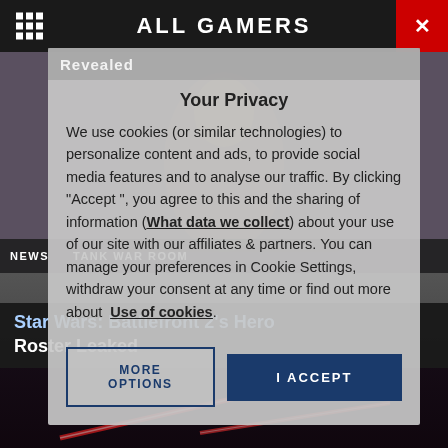ALL GAMERS
Your Privacy
We use cookies (or similar technologies) to personalize content and ads, to provide social media features and to analyse our traffic. By clicking "Accept ", you agree to this and the sharing of information (What data we collect) about your use of our site with our affiliates & partners. You can manage your preferences in Cookie Settings, withdraw your consent at any time or find out more about  Use of cookies.
MORE OPTIONS
I ACCEPT
NEWS   TANK WAR ROOM
Star Wars: Battlefront 2's Hero Roster Leaked